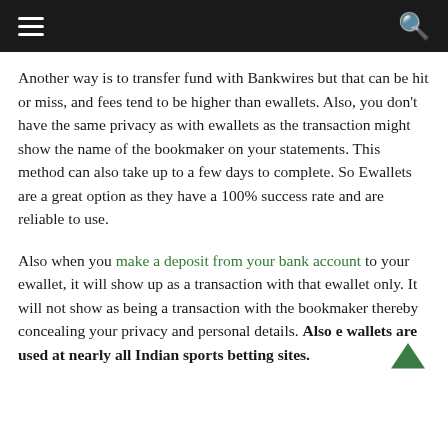Navigation bar with hamburger menu and search icon
Another way is to transfer fund with Bankwires but that can be hit or miss, and fees tend to be higher than ewallets. Also, you don’t have the same privacy as with ewallets as the transaction might show the name of the bookmaker on your statements. This method can also take up to a few days to complete. So Ewallets are a great option as they have a 100% success rate and are reliable to use.
Also when you make a deposit from your bank account to your ewallet, it will show up as a transaction with that ewallet only. It will not show as being a transaction with the bookmaker thereby concealing your privacy and personal details. Also e wallets are used at nearly all Indian sports betting sites.